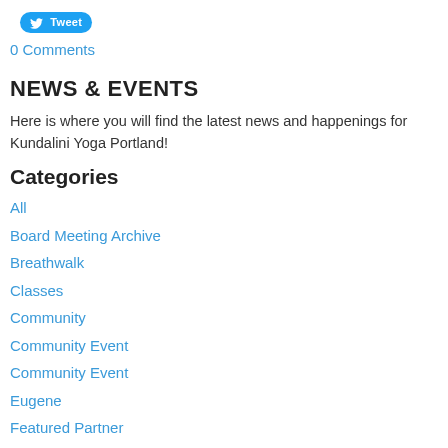[Figure (other): Twitter Tweet button with bird icon]
0 Comments
NEWS & EVENTS
Here is where you will find the latest news and happenings for Kundalini Yoga Portland!
Categories
All
Board Meeting Archive
Breathwalk
Classes
Community
Community Event
Community Event
Eugene
Featured Partner
Free
Full Moon
Gurdwara
Guru Dev Singh